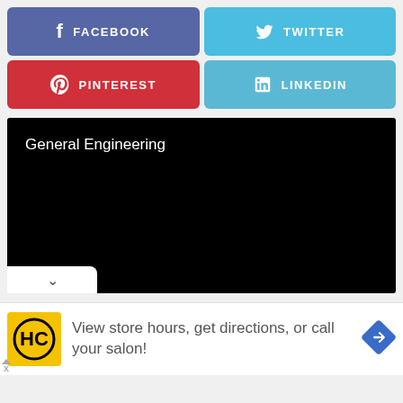[Figure (screenshot): Facebook social share button - blue rounded rectangle with Facebook f icon and FACEBOOK text]
[Figure (screenshot): Twitter social share button - blue rounded rectangle with Twitter bird icon and TWITTER text]
[Figure (screenshot): Pinterest social share button - red rounded rectangle with Pinterest P icon and PINTEREST text]
[Figure (screenshot): LinkedIn social share button - light blue rounded rectangle with LinkedIn 'in' icon and LINKEDIN text]
[Figure (screenshot): Black video player area with white text 'General Engineering' and a white chevron dropdown tab at bottom left]
[Figure (screenshot): Advertisement banner: HC logo on yellow background, text 'View store hours, get directions, or call your salon!', blue diamond navigation arrow icon]